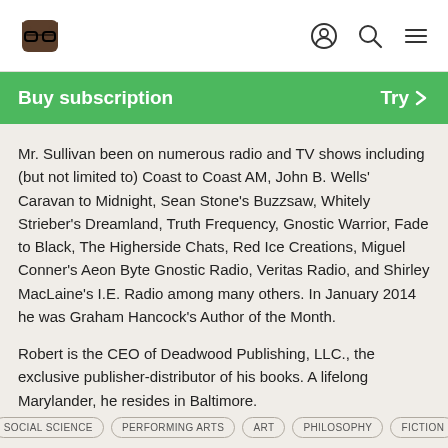Buy subscription | Try
Mr. Sullivan been on numerous radio and TV shows including (but not limited to) Coast to Coast AM, John B. Wells' Caravan to Midnight, Sean Stone's Buzzsaw, Whitely Strieber's Dreamland, Truth Frequency, Gnostic Warrior, Fade to Black, The Higherside Chats, Red Ice Creations, Miguel Conner's Aeon Byte Gnostic Radio, Veritas Radio, and Shirley MacLaine's I.E. Radio among many others. In January 2014 he was Graham Hancock's Author of the Month.
Robert is the CEO of Deadwood Publishing, LLC., the exclusive publisher-distributor of his books. A lifelong Marylander, he resides in Baltimore.
SOCIAL SCIENCE
PERFORMING ARTS
ART
PHILOSOPHY
FICTION